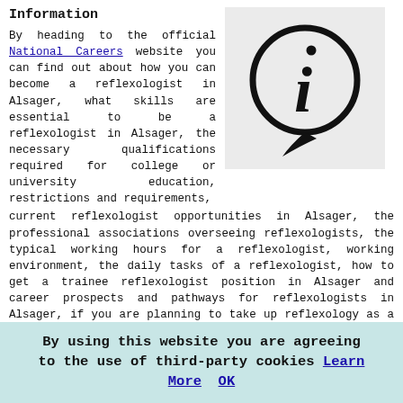Information
By heading to the official National Careers website you can find out about how you can become a reflexologist in Alsager, what skills are essential to be a reflexologist in Alsager, the necessary qualifications required for college or university education, restrictions and requirements, current reflexologist opportunities in Alsager, the professional associations overseeing reflexologists, the typical working hours for a reflexologist, working environment, the daily tasks of a reflexologist, how to get a trainee reflexologist position in Alsager and career prospects and pathways for reflexologists in Alsager, if you are planning to take up reflexology as a career. To check out an informative article about what you should expect from your initial reflexology session head here. To find out how to do relaxing and calming hand reflexology
[Figure (illustration): Information icon: a circle with an italic lowercase 'i' inside, with a speech bubble tail at the bottom, on a light grey background]
By using this website you are agreeing to the use of third-party cookies Learn More OK